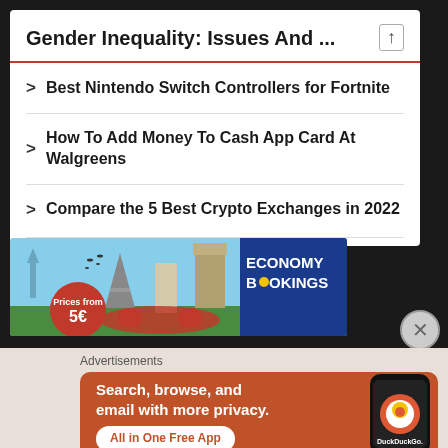Gender Inequality: Issues And ...
Best Nintendo Switch Controllers for Fortnite
How To Add Money To Cash App Card At Walgreens
Compare the 5 Best Crypto Exchanges in 2022
[Figure (photo): Economy Bookings car rental advertisement banner showing world landmarks (Statue of Liberty, Colosseum, Eiffel Tower, Leaning Tower of Pisa, Big Ben) with a red sports car and a red starburst showing 'Prices from 5€']
Advertisements
[Figure (photo): DuckDuckGo advertisement on orange/brown background: 'Search, browse, and email with more privacy. All in One Free App' with a phone showing the DuckDuckGo logo]